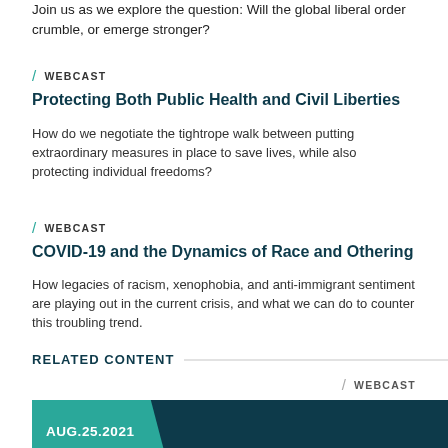Join us as we explore the question: Will the global liberal order crumble, or emerge stronger?
WEBCAST
Protecting Both Public Health and Civil Liberties
How do we negotiate the tightrope walk between putting extraordinary measures in place to save lives, while also protecting individual freedoms?
WEBCAST
COVID-19 and the Dynamics of Race and Othering
How legacies of racism, xenophobia, and anti-immigrant sentiment are playing out in the current crisis, and what we can do to counter this troubling trend.
RELATED CONTENT
WEBCAST
AUG.25.2021